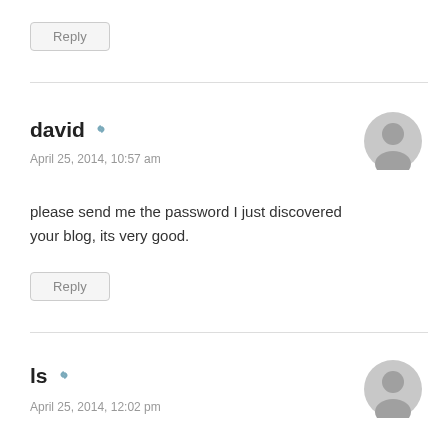Reply
david  April 25, 2014, 10:57 am
please send me the password I just discovered your blog, its very good.
Reply
ls  April 25, 2014, 12:02 pm